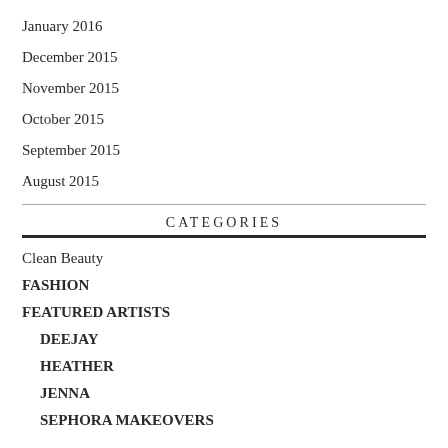January 2016
December 2015
November 2015
October 2015
September 2015
August 2015
CATEGORIES
Clean Beauty
FASHION
FEATURED ARTISTS
DEEJAY
HEATHER
JENNA
SEPHORA MAKEOVERS